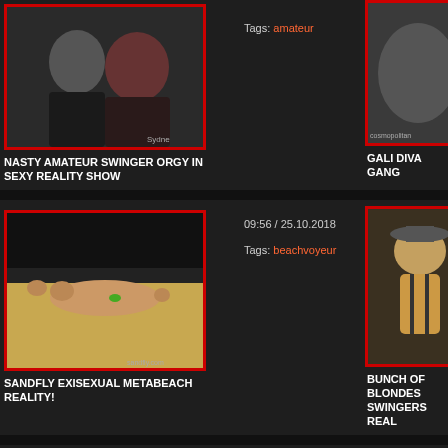[Figure (photo): Video thumbnail showing a man and woman, couple, for adult video titled Nasty Amateur Swinger Orgy In Sexy Reality Show]
Tags: amateur
[Figure (photo): Right side partial thumbnail for Gali Diva Gang video]
NASTY AMATEUR SWINGER ORGY IN SEXY REALITY SHOW
GALI DIVA GANG
[Figure (photo): Video thumbnail for Sandfly Exisexual Metabeach Reality beach voyeur video]
09:56 / 25.10.2018
Tags: beachvoyeur
[Figure (photo): Right side partial thumbnail man in hat and suspenders for Bunch of Blondes Swingers Reality video]
SANDFLY EXISEXUAL METABEACH REALITY!
BUNCH OF BLONDES SWINGERS REAL
[Figure (photo): Video thumbnail bottom row showing two people]
06:48 / 11.08.2017
Tags: swing
[Figure (photo): Right side partial thumbnail bottom row]